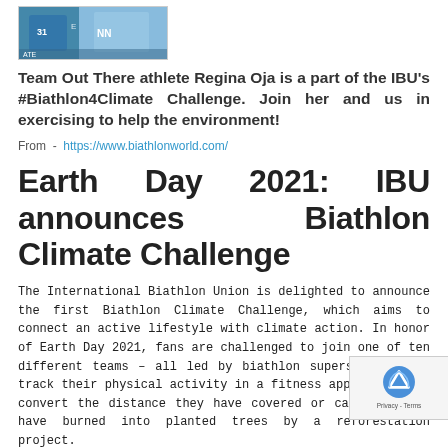[Figure (photo): Photo of Regina Oja, biathlon athlete, cropped top portion showing athlete in racing gear]
Team Out There athlete Regina Oja is a part of the IBU's #Biathlon4Climate Challenge. Join her and us in exercising to help the environment!
From - https://www.biathlonworld.com/
Earth Day 2021: IBU announces Biathlon Climate Challenge
The International Biathlon Union is delighted to announce the first Biathlon Climate Challenge, which aims to connect an active lifestyle with climate action. In honor of Earth Day 2021, fans are challenged to join one of ten different teams – all led by biathlon superstars – and track their physical activity in a fitness app which will convert the distance they have covered or calories they have burned into planted trees by a reforestation project.
To give back to Mother Nature, fans can join the Biathlon Climate Challenge in five simple steps. First, decide which athlete they want to join. Then, to track their activities, download partner Active Giving's app from the App Store or Google Play, create a profile and on the menu tab, select Team and enter the